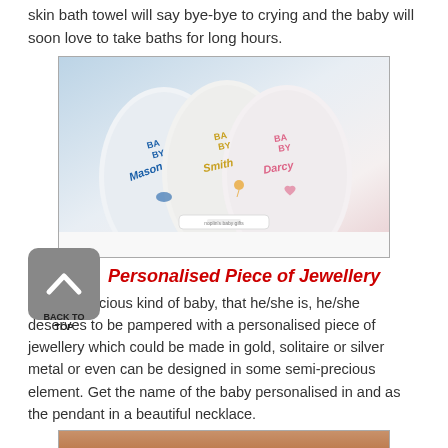skin bath towel will say bye-bye to crying and the baby will soon love to take baths for long hours.
[Figure (photo): Three personalised white hooded baby bath towels embroidered with names: Baby Mason (blue), Baby Smith (yellow/gold), and Baby Darcy (pink), bundled together on a white surface with a small brand label visible.]
Personalised Piece of Jewellery
For the precious kind of baby, that he/she is, he/she deserves to be pampered with a personalised piece of jewellery which could be made in gold, solitaire or silver metal or even can be designed in some semi-precious element. Get the name of the baby personalised in and as the pendant in a beautiful necklace.
[Figure (photo): Close-up of a person's wrist and forearm wearing a delicate personalised gold necklace/bracelet.]